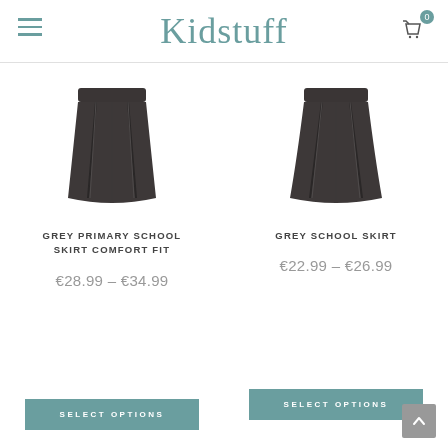Kidstuff
[Figure (illustration): Grey pleated school skirt product image, charcoal/dark grey color]
GREY PRIMARY SCHOOL SKIRT COMFORT FIT
€28.99 – €34.99
SELECT OPTIONS
[Figure (illustration): Grey pleated school skirt product image, charcoal/dark grey color]
GREY SCHOOL SKIRT
€22.99 – €26.99
SELECT OPTIONS